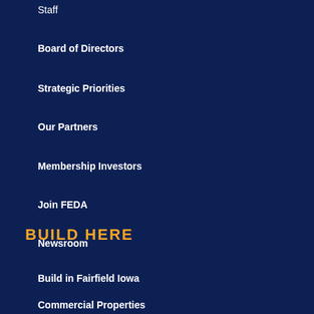Staff
Board of Directors
Strategic Priorities
Our Partners
Membership Investors
Join FEDA
Newsroom
BUILD HERE
Build in Fairfield Iowa
Commercial Properties